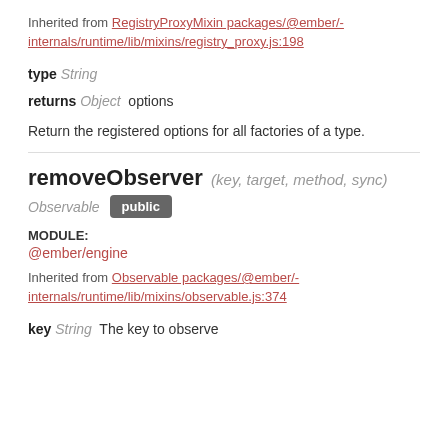Inherited from RegistryProxyMixin packages/@ember/-internals/runtime/lib/mixins/registry_proxy.js:198
type String
returns Object options
Return the registered options for all factories of a type.
removeObserver (key, target, method, sync) Observable public
MODULE: @ember/engine
Inherited from Observable packages/@ember/-internals/runtime/lib/mixins/observable.js:374
key String The key to observe